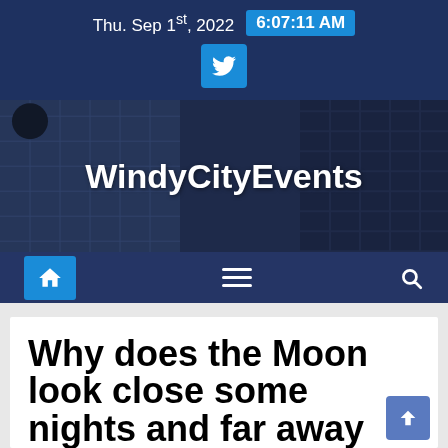Thu. Sep 1st, 2022  6:07:11 AM
[Figure (logo): Twitter bird icon button in blue square]
[Figure (screenshot): WindyCityEvents website hero banner with city building background]
WindyCityEvents
[Figure (infographic): Navigation bar with home icon, hamburger menu, and search icon]
Why does the Moon look close some nights and far away